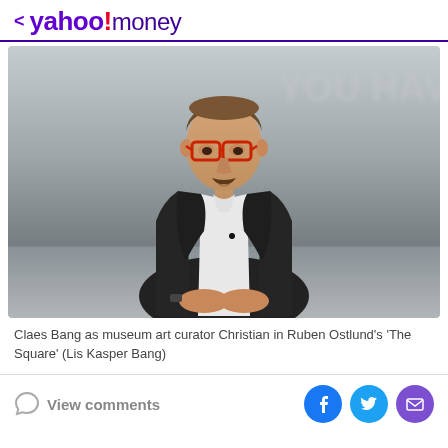< yahoo!money
[Figure (photo): Claes Bang as museum art curator Christian, seated, wearing a dark blazer and red glasses, in a light grey room with blurred text on wall in background.]
Claes Bang as museum art curator Christian in Ruben Ostlund's 'The Square' (Lis Kasper Bang)
View comments